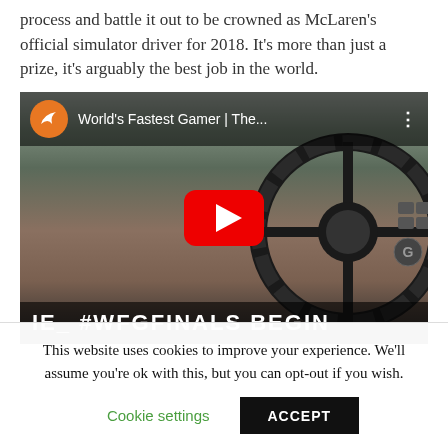process and battle it out to be crowned as McLaren's official simulator driver for 2018. It's more than just a prize, it's arguably the best job in the world.
[Figure (screenshot): YouTube video embed thumbnail showing a racing steering wheel with McLaren logo, title 'World's Fastest Gamer | The...' and bottom text '#WFGFINALS BEGIN']
This website uses cookies to improve your experience. We'll assume you're ok with this, but you can opt-out if you wish.